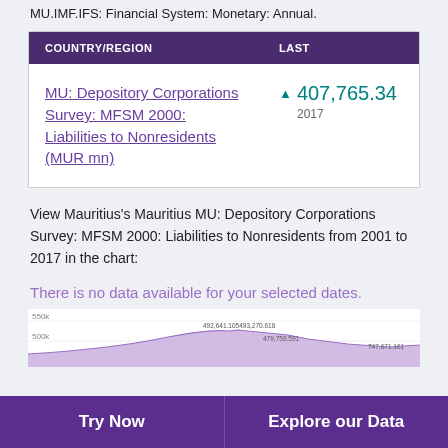MU.IMF.IFS: Financial System: Monetary: Annual.
| COUNTRY/REGION | LAST |
| --- | --- |
| MU: Depository Corporations Survey: MFSM 2000: Liabilities to Nonresidents (MUR mn) | ▲ 407,765.34
2017 |
View Mauritius's Mauritius MU: Depository Corporations Survey: MFSM 2000: Liabilities to Nonresidents from 2001 to 2017 in the chart:
There is no data available for your selected dates.
[Figure (area-chart): Partial area chart showing data values including labels 492,641.105493,270.618 and 479,759.591, partially visible at the bottom of the page. Y-axis shows 550k and 500k gridlines.]
Try Now    Explore our Data